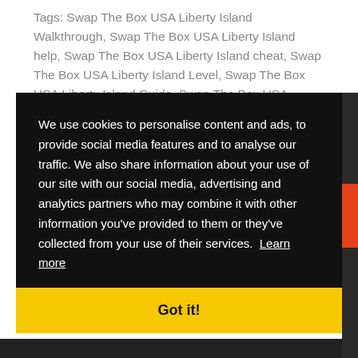Tags: Swap The Box USA Liberty Island Walkthrough, Swap The Box USA Liberty Island help, Swap The Box USA Liberty Island cheat, Swap The Box USA Liberty Island Level, Swap The Box USA Liberty Island Guide, Swap The Box USA Liberty Island iPad, Swap The Box USA Liberty Island iPhone, Swap The Box USA Liberty
We use cookies to personalise content and ads, to provide social media features and to analyse our traffic. We also share information about your use of our site with our social media, advertising and analytics partners who may combine it with other information you've provided to them or they've collected from your use of their services.  Learn more
Got it!